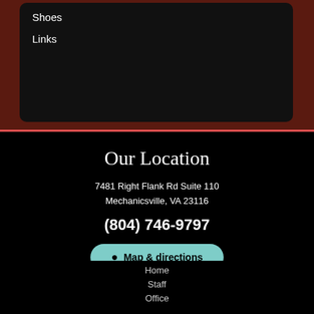Shoes
Links
Our Location
7481 Right Flank Rd Suite 110
Mechanicsville, VA 23116
(804) 746-9797
Map & directions
Home
Staff
Office